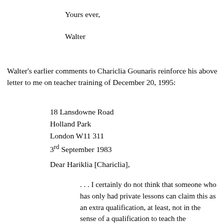Yours ever,
Walter
Walter's earlier comments to Chariclia Gounaris reinforce his above letter to me on teacher training of December 20, 1995:
18 Lansdowne Road
Holland Park
London W11 311
3rd September 1983
Dear Hariklia [Chariclia],
. . . I certainly do not think that someone who has only had private lessons can claim this as an extra qualification, at least, not in the sense of a qualification to teach the technique. Obviously, if you are learning let us say the flute you would be glad to go to a teacher who had had Alexander lessons and therefore, presumably applied the principles of the technique in his own work. Therefore it would be reasonable for the [flute]